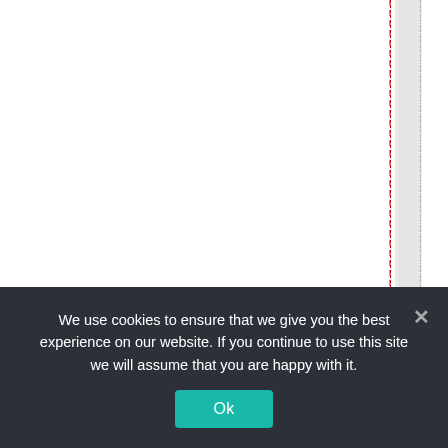entists-and-politi
We use cookies to ensure that we give you the best experience on our website. If you continue to use this site we will assume that you are happy with it.